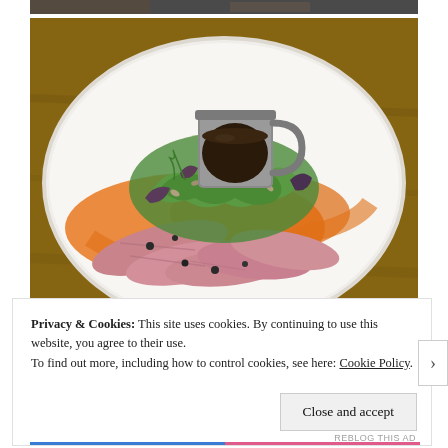[Figure (photo): Top sliver of a food photo partially visible at the very top of the page]
[Figure (photo): A restaurant dish on a white plate: sliced pink meat (duck or roast) topped with mixed greens and herbs, orange sauce/puree, seeds, and a small metal cup of dark sauce/gravy in the center]
Privacy & Cookies: This site uses cookies. By continuing to use this website, you agree to their use.
To find out more, including how to control cookies, see here: Cookie Policy
Close and accept